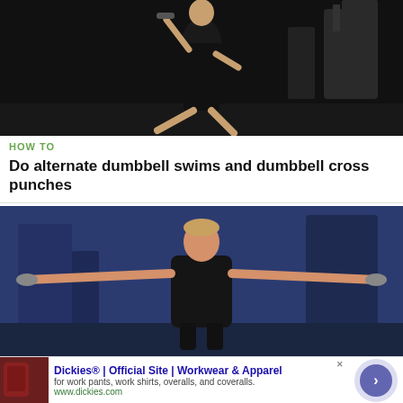[Figure (photo): Man in black gym clothes doing a dumbbell exercise with one knee raised, in a gym setting with exercise equipment in background. Dark, moody lighting.]
HOW TO
Do alternate dumbbell swims and dumbbell cross punches
[Figure (photo): Man in black tank top standing with arms fully extended horizontally to the sides holding dumbbells, in a gym setting with blue-tinted background lighting.]
Dickies® | Official Site | Workwear & Apparel
for work pants, work shirts, overalls, and coveralls.
www.dickies.com